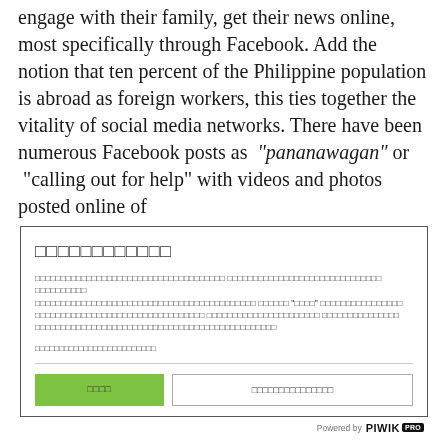engage with their family, get their news online, most specifically through Facebook. Add the notion that ten percent of the Philippine population is abroad as foreign workers, this ties together the vitality of social media networks. There have been numerous Facebook posts as "pananawagan" or "calling out for help" with videos and photos posted online of
[Figure (screenshot): Cookie consent dialog box with Thai language text, a green Accept button, and a Manage Preferences button, with 'Powered by PIWIK PRO' footer.]